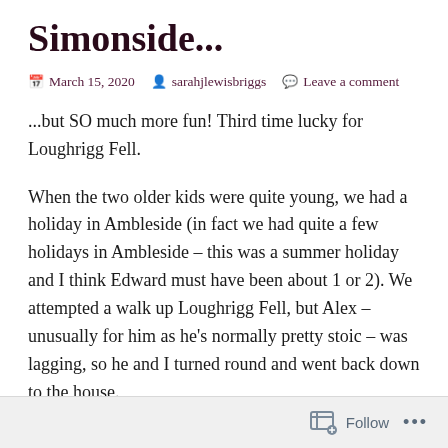Simonside...
March 15, 2020 · sarahjlewisbriggs · Leave a comment
...but SO much more fun! Third time lucky for Loughrigg Fell.
When the two older kids were quite young, we had a holiday in Ambleside (in fact we had quite a few holidays in Ambleside – this was a summer holiday and I think Edward must have been about 1 or 2). We attempted a walk up Loughrigg Fell, but Alex – unusually for him as he's normally pretty stoic – was lagging, so he and I turned round and went back down to the house.
Follow